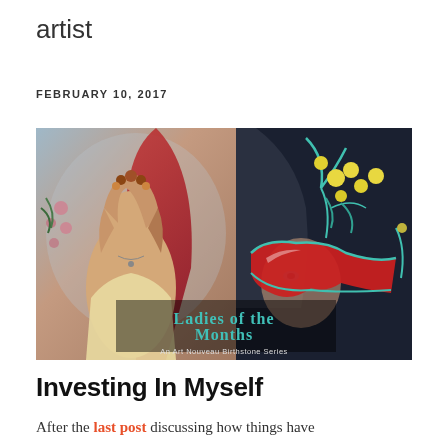artist
FEBRUARY 10, 2017
[Figure (illustration): Composite illustration showing two artworks side by side: on the left, an Art Nouveau style painting of a woman with long flowing hair wearing a floral crown and holding a red drape; on the right, a woman wearing a decorative red mask with teal floral designs and yellow flowers. Text overlay reads 'LADIES OF THE MONTHS - An Art Nouveau Birthstone Series'.]
Investing In Myself
After the last post discussing how things have